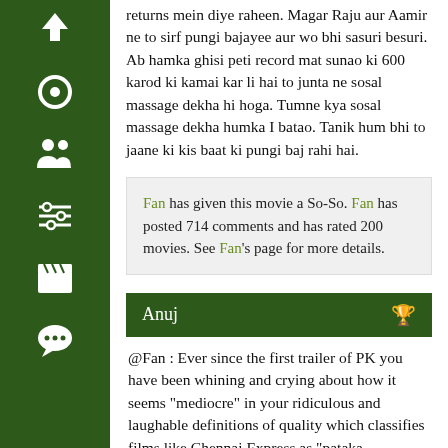[Figure (infographic): Dark green vertical sidebar with white icons: up arrow, circle/record, two figures/people, sliders, clapperboard, speech bubble]
returns mein diye raheen. Magar Raju aur Aamir ne to sirf pungi bajayee aur wo bhi sasuri besuri. Ab hamka ghisi peti record mat sunao ki 600 karod ki kamai kar li hai to junta ne sosal massage dekha hi hoga. Tumne kya sosal massage dekha humka I batao. Tanik hum bhi to jaane ki kis baat ki pungi baj rahi hai.
Fan has given this movie a So-So. Fan has posted 714 comments and has rated 200 movies. See Fan's page for more details.
Anuj
@Fan : Ever since the first trailer of PK you have been whining and crying about how it seems "mediocre" in your ridiculous and laughable definitions of quality which classifies films like Chennai Express as "pataka entertainers". I'm sure you're [comment partially deleted for offensive